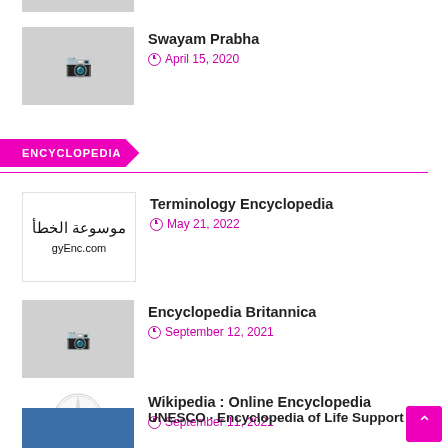[Figure (photo): Partial thumbnail image at top (cropped)]
Swayam Prabha
April 15, 2020
ENCYCLOPEDIA
Terminology Encyclopedia
May 21, 2022
Encyclopedia Britannica
September 12, 2021
Wikipedia : Online Encyclopedia
September 11, 2021
UNESCO · Encyclopedia of Life Support